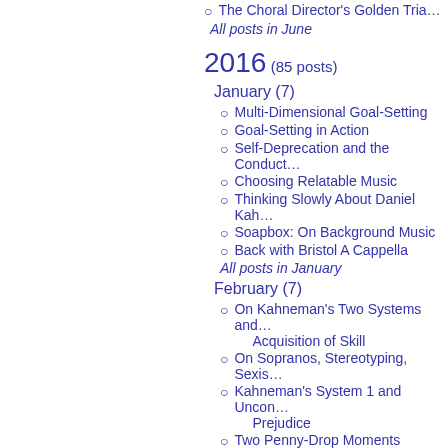The Choral Director's Golden Tria…
All posts in June
2016 (85 posts)
January (7)
Multi-Dimensional Goal-Setting
Goal-Setting in Action
Self-Deprecation and the Conduct…
Choosing Relatable Music
Thinking Slowly About Daniel Kah…
Soapbox: On Background Music
Back with Bristol A Cappella
All posts in January
February (7)
On Kahneman's Two Systems and Acquisition of Skill
On Sopranos, Stereotyping, Sexis…
Kahneman's System 1 and Uncon… Prejudice
Two Penny-Drop Moments
On the Locus of Control
On the Locus of Control, Part 2: Th… Conductor-Choir Relationship
On Phrase-Boundary Embellishme…
All posts in February
March (8)
Silver Lining, Melodic Lines